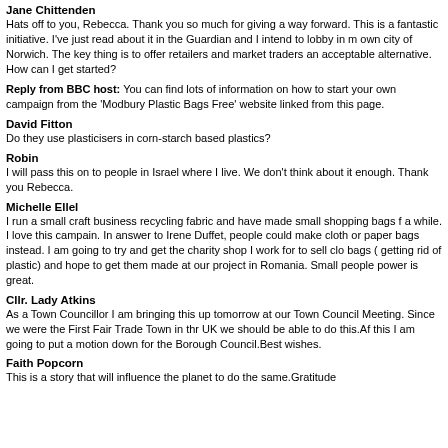Jane Chittenden
Hats off to you, Rebecca. Thank you so much for giving a way forward. This is a fantastic initiative. I've just read about it in the Guardian and I intend to lobby in my own city of Norwich. The key thing is to offer retailers and market traders an acceptable alternative. How can I get started?
Reply from BBC host: You can find lots of information on how to start your own campaign from the 'Modbury Plastic Bags Free' website linked from this page.
David Fitton
Do they use plasticisers in corn-starch based plastics?
Robin
I will pass this on to people in Israel where I live. We don't think about it enough. Thank you Rebecca.
Michelle Ellel
I run a small craft business recycling fabric and have made small shopping bags for a while. I love this campain. In answer to Irene Duffet, people could make cloth or paper bags instead. I am going to try and get the charity shop I work for to sell cloth bags ( getting rid of plastic) and hope to get them made at our project in Romania. Small people power is great.
Cllr. Lady Atkins
As a Town Councillor I am bringing this up tomorrow at our Town Council Meeting. Since we were the First Fair Trade Town in thr UK we should be able to do this.After this I am going to put a motion down for the Borough Council.Best wishes.
Faith Popcorn
This is a story that will influence the planet to do the same.Gratitude